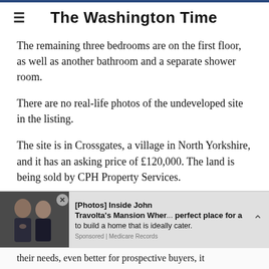The Washington Time
The remaining three bedrooms are on the first floor, as well as another bathroom and a separate shower room.
There are no real-life photos of the undeveloped site in the listing.
The site is in Crossgates, a village in North Yorkshire, and it has an asking price of £120,000. The land is being sold by CPH Property Services.
Daniel Copley, of Zoopla, said: 'This spacious plot in [Photos] Inside John the perfect place for a Travolta's Mansion Wher... to build a home that is ideally cater. ⌃ to their needs, even better for prospective buyers, it
[Figure (photo): Advertisement banner with photo of two men in suits, promoting 'Photos Inside John Travolta's Mansion Wher...' sponsored by Medicare Records]